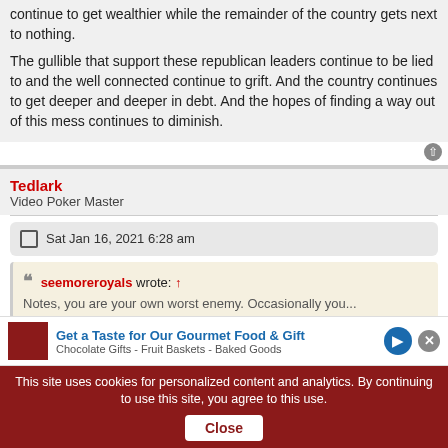continue to get wealthier while the remainder of the country gets next to nothing.
The gullible that support these republican leaders continue to be lied to and the well connected continue to grift. And the country continues to get deeper and deeper in debt. And the hopes of finding a way out of this mess continues to diminish.
Tedlark
Video Poker Master
Sat Jan 16, 2021 6:28 am
seemoreroyals wrote: ↑
Notes, you are your own worst enemy. Occasionally you...
Get a Taste for Our Gourmet Food & Gift
Chocolate Gifts - Fruit Baskets - Baked Goods
This site uses cookies for personalized content and analytics. By continuing to use this site, you agree to this use. Close